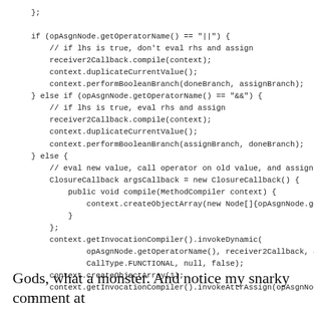};

    if (opAsgnNode.getOperatorName() == "||") {
        // if lhs is true, don't eval rhs and assign
        receiver2Callback.compile(context);
        context.duplicateCurrentValue();
        context.performBooleanBranch(doneBranch, assignBranch);
    } else if (opAsgnNode.getOperatorName() == "&&") {
        // if lhs is true, eval rhs and assign
        receiver2Callback.compile(context);
        context.duplicateCurrentValue();
        context.performBooleanBranch(assignBranch, doneBranch);
    } else {
        // eval new value, call operator on old value, and assign
        ClosureCallback argsCallback = new ClosureCallback() {
            public void compile(MethodCompiler context) {
                context.createObjectArray(new Node[]{opAsgnNode.getVa
            }
        };
        context.getInvocationCompiler().invokeDynamic(
                opAsgnNode.getOperatorName(), receiver2Callback, args
                CallType.FUNCTIONAL, null, false);
        context.createObjectArray(1);
        context.getInvocationCompiler().invokeAttrAssign(opAsgnNode.g
    }

    context.pollThreadEvents();
}
Gods, what a monster. And notice my snarky comment at